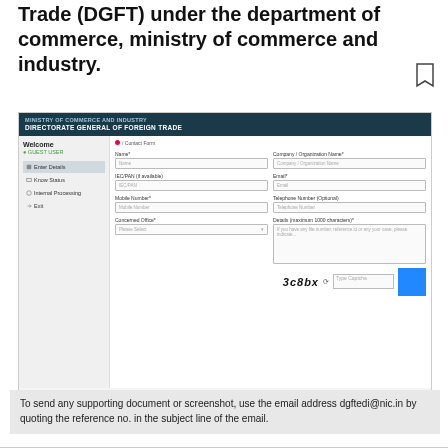Trade (DGFT) under the department of commerce, ministry of commerce and industry.
[Figure (screenshot): Screenshot of the DGFT (Directorate General of Foreign Trade) contact form on the Ministry of Commerce and Industry website, showing fields for Name, Company/Organization Name, IEC/PAN, Email, Mobile Number, Telephone Number, Concerned Office (dropdown), and Details (textarea), plus a CAPTCHA row.]
To send any supporting document or screenshot, use the email address dgftedi@nic.in by quoting the reference no. in the subject line of the email.